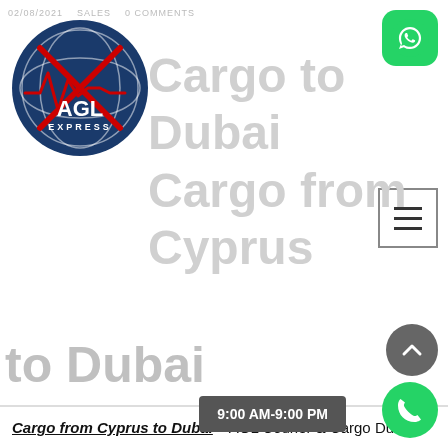02/08/2021  SALES  0 COMMENTS
[Figure (logo): AGL Express circular logo with globe, heartbeat line, red X cross pattern and text AGL EXPRESS]
Cargo from Cyprus to Dubai
Cargo from Cyprus to Dubai – AGL Courier & Cargo Dubai, UAE, Sharjah, Abu Dhabi does Cargo from Cyprus to Dubai, Courier From Cyprus to Dubai, Shipping From Cyprus to Dubai, Freight From Cyprus to Dubai, Air Cargo From Cyprus to Dubai, Air Shipping From Cyprus to Dubai, Excess Baggage From Cyprus, Luggage Shipping From Cyprus, Sea Cargo From Cyprus, Sea Shipping From Cyprus, Door to Door Cargo From Cyprus to Dubai, Cargo to Cyprus.
9:00 AM-9:00 PM